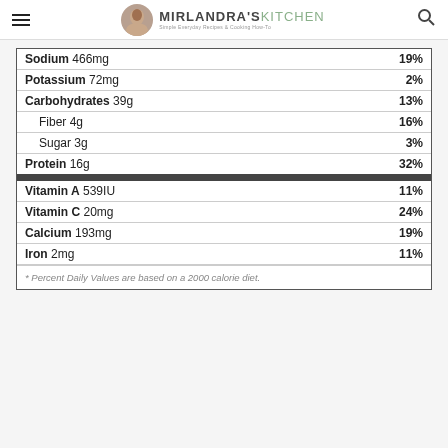MIRLANDRA'S KITCHEN - Simple Everyday Recipes & Cooking How-To
| Nutrient | % Daily Value |
| --- | --- |
| Sodium 466mg | 19% |
| Potassium 72mg | 2% |
| Carbohydrates 39g | 13% |
| Fiber 4g | 16% |
| Sugar 3g | 3% |
| Protein 16g | 32% |
| Vitamin A 539IU | 11% |
| Vitamin C 20mg | 24% |
| Calcium 193mg | 19% |
| Iron 2mg | 11% |
* Percent Daily Values are based on a 2000 calorie diet.